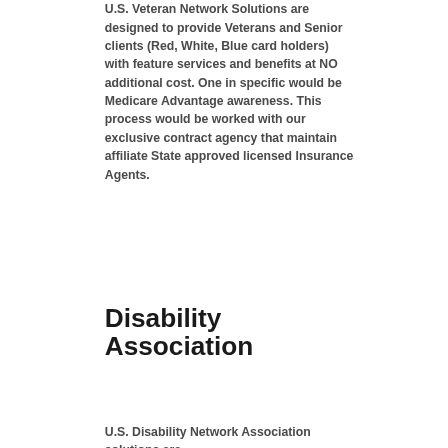U.S. Veteran Network Solutions are designed to provide Veterans and Senior clients (Red, White, Blue card holders) with feature services and benefits at NO additional cost. One in specific would be Medicare Advantage awareness. This process would be worked with our exclusive contract agency that maintain affiliate State approved licensed Insurance Agents.
Disability Association
U.S. Disability Network Association solutions are